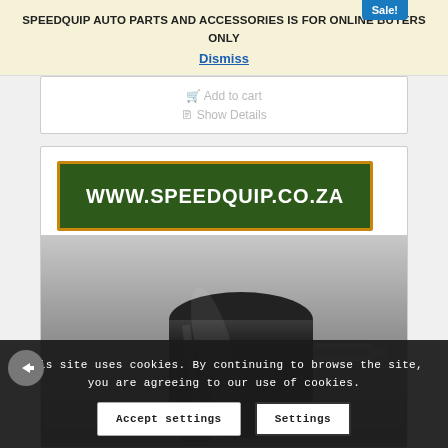SPEEDQUIP AUTO PARTS AND ACCESSORIES IS FOR ONLINE BUYERS ONLY
Dismiss
Add to cart
Show Details
[Figure (logo): SpeedQuip logo banner: dark green background with orange border, white bold text reading WWW.SPEEDQUIP.CO.ZA]
[Figure (photo): Photo of a black cylindrical fuel filter with metal end fittings on a grey gradient background]
This site uses cookies. By continuing to browse the site, you are agreeing to our use of cookies.
Accept settings
Settings